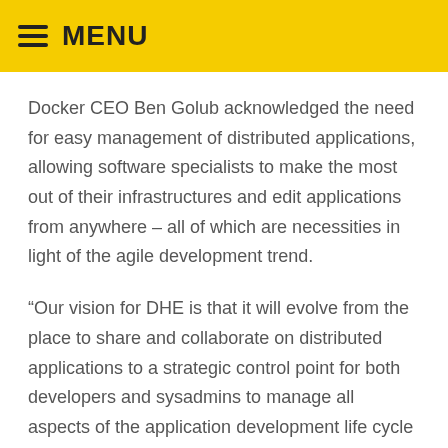MENU
Docker CEO Ben Golub acknowledged the need for easy management of distributed applications, allowing software specialists to make the most out of their infrastructures and edit applications from anywhere – all of which are necessities in light of the agile development trend.
“Our vision for DHE is that it will evolve from the place to share and collaborate on distributed applications to a strategic control point for both developers and sysadmins to manage all aspects of the application development life cycle – from build through production – on any infrastructure they